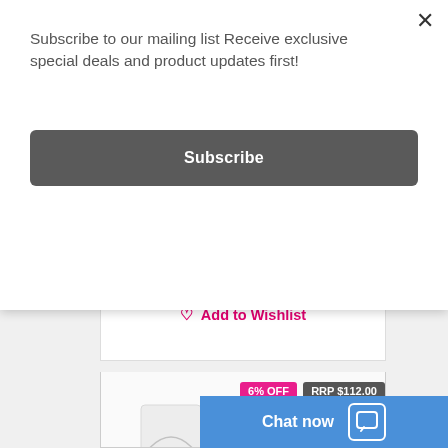Subscribe to our mailing list Receive exclusive special deals and product updates first!
Subscribe
Add to Cart
Add to Wishlist
6% OFF
RRP $112.00
Chat now